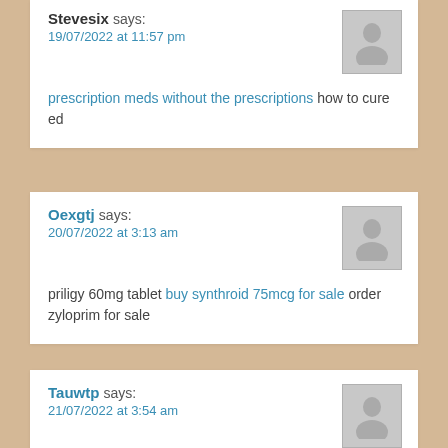Stevesix says: 19/07/2022 at 11:57 pm — prescription meds without the prescriptions how to cure ed
Oexgtj says: 20/07/2022 at 3:13 am — priligy 60mg tablet buy synthroid 75mcg for sale order zyloprim for sale
Tauwtp says: 21/07/2022 at 3:54 am